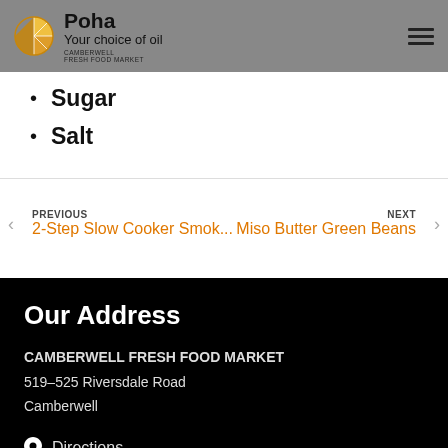Poha / Your choice of oil — Camberwell Fresh Food Market
Sugar
Salt
PREVIOUS 2-Step Slow Cooker Smok...
NEXT Miso Butter Green Beans
Our Address
CAMBERWELL FRESH FOOD MARKET
519–525 Riversdale Road
Camberwell
Directions